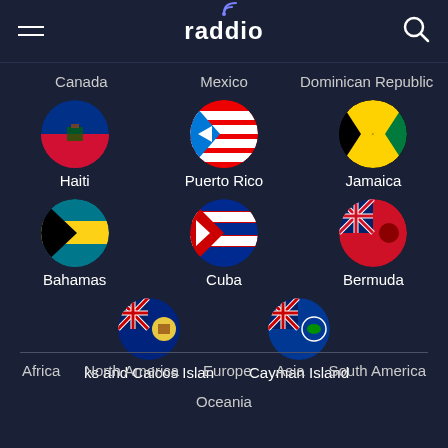raddio
Canada  Mexico  Dominican Republic
[Figure (illustration): Haiti flag circle icon]
Haiti
[Figure (illustration): Puerto Rico flag circle icon]
Puerto Rico
[Figure (illustration): Jamaica flag circle icon]
Jamaica
[Figure (illustration): Bahamas flag circle icon]
Bahamas
[Figure (illustration): Cuba flag circle icon]
Cuba
[Figure (illustration): Bermuda flag circle icon]
Bermuda
[Figure (illustration): Turks and Caicos Islands flag circle icon]
ks and Caicos Islan
[Figure (illustration): Cayman Islands flag circle icon]
Cayman Island
Africa  North America  Europe  Asia  South America
Oceania